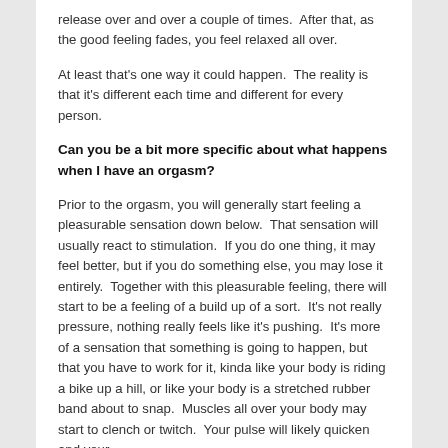release over and over a couple of times.  After that, as the good feeling fades, you feel relaxed all over.
At least that's one way it could happen.  The reality is that it's different each time and different for every person.
Can you be a bit more specific about what happens when I have an orgasm?
Prior to the orgasm, you will generally start feeling a pleasurable sensation down below.  That sensation will usually react to stimulation.  If you do one thing, it may feel better, but if you do something else, you may lose it entirely.  Together with this pleasurable feeling, there will start to be a feeling of a build up of a sort.  It's not really pressure, nothing really feels like it's pushing.  It's more of a sensation that something is going to happen, but that you have to work for it, kinda like your body is riding a bike up a hill, or like your body is a stretched rubber band about to snap.  Muscles all over your body may start to clench or twitch.  Your pulse will likely quicken and your